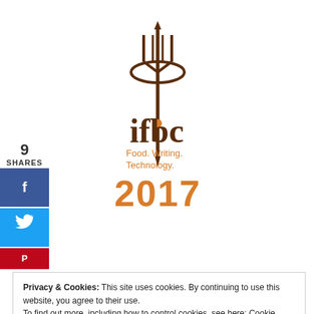[Figure (logo): IFBC logo with fork/pen icon above text 'ifbc Food. Writing. Technology.' in brown and orange, followed by '2017' in orange]
9
SHARES
[Figure (infographic): Social share buttons: Facebook (blue) with 'f', Twitter (light blue) with bird icon, Pinterest (red)]
Privacy & Cookies: This site uses cookies. By continuing to use this website, you agree to their use.
To find out more, including how to control cookies, see here: Cookie Policy
Close and accept
Proudly powered by WordPress | Theme: Yoko by Elmastudio
Top